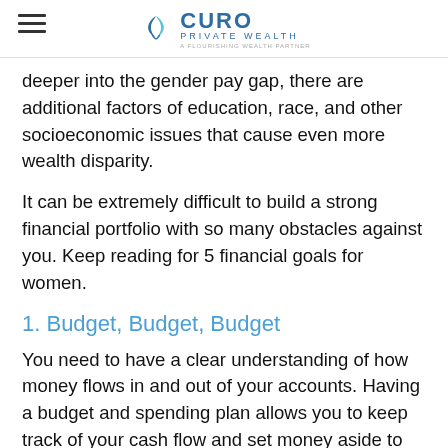CURO PRIVATE WEALTH
deeper into the gender pay gap, there are additional factors of education, race, and other socioeconomic issues that cause even more wealth disparity.
It can be extremely difficult to build a strong financial portfolio with so many obstacles against you. Keep reading for 5 financial goals for women.
1. Budget, Budget, Budget
You need to have a clear understanding of how money flows in and out of your accounts. Having a budget and spending plan allows you to keep track of your cash flow and set money aside to pay down debts and allocate to savings. Utilizing and sticking to a budget gives you full control of your finances so